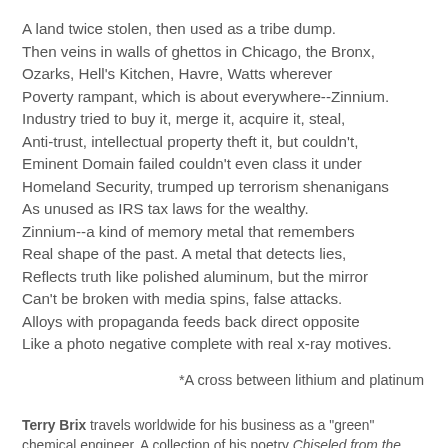A land twice stolen, then used as a tribe dump.
Then veins in walls of ghettos in Chicago, the Bronx,
Ozarks, Hell's Kitchen, Havre, Watts wherever
Poverty rampant, which is about everywhere--Zinnium.
Industry tried to buy it, merge it, acquire it, steal,
Anti-trust, intellectual property theft it, but couldn't,
Eminent Domain failed couldn't even class it under
Homeland Security, trumped up terrorism shenanigans
As unused as IRS tax laws for the wealthy.
Zinnium--a kind of memory metal that remembers
Real shape of the past. A metal that detects lies,
Reflects truth like polished aluminum, but the mirror
Can't be broken with media spins, false attacks.
Alloys with propaganda feeds back direct opposite
Like a photo negative complete with real x-ray motives.
*A cross between lithium and platinum
Terry Brix travels worldwide for his business as a "green" chemical engineer. A collection of his poetry Chiseled from the Heart was published in 2000 by Vigeland Museum, Norway. His poetry has appeared in The Evansville